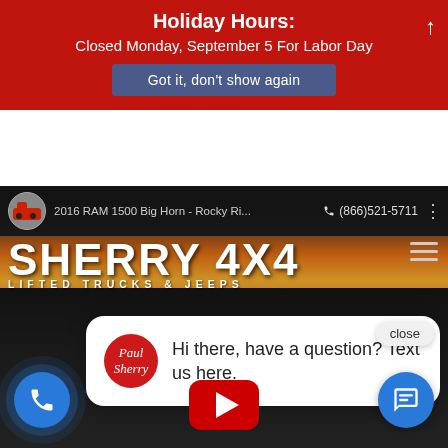Holiday Hours:
Closed Monday, September 5 For Labor Day
Got it, don't show again
[Figure (screenshot): Sherry 4x4 Lifted Trucks & Jeeps dealer website screenshot showing navigation bar with phone number (866)521-5711, Sherry 4x4 logo, autumn background with truck, and chat popup saying 'Hi there, have a question? Text us here.' with Paul Sherry avatar, plus phone and chat floating buttons and YouTube button.]